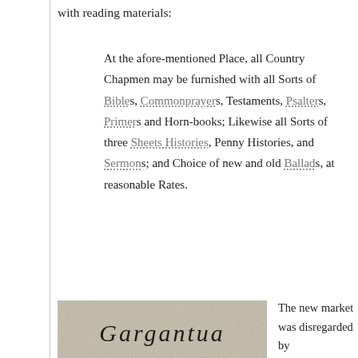with reading materials:
At the afore-mentioned Place, all Country Chapmen may be furnished with all Sorts of Bibles, Commonprayers, Testaments, Psalters, Primers and Horn-books; Likewise all Sorts of three Sheets Histories, Penny Histories, and Sermons; and Choice of new and old Ballads, at reasonable Rates.
[Figure (photo): Partial image of an old book cover with ornate script text reading 'Gargantua']
The new market was disregarded by